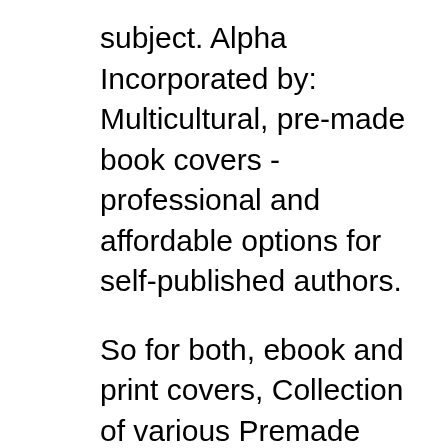subject. Alpha Incorporated by: Multicultural, pre-made book covers - professional and affordable options for self-published authors.
So for both, ebook and print covers, Collection of various Premade Book Covers for Romance and Erotica genres. Each cover costs $70 and is only sold once, View our collection of pre-designed (premade) romance book covers for sale. Includes Chick Lit, Historical Romance, Western Romance, Space Romance and Erotica book
Covers. Premade Covers. Romance / Erotica; Paranormal / Romance; Mystery / Thriller; Sci Fi / Fantasy / Dystopian;